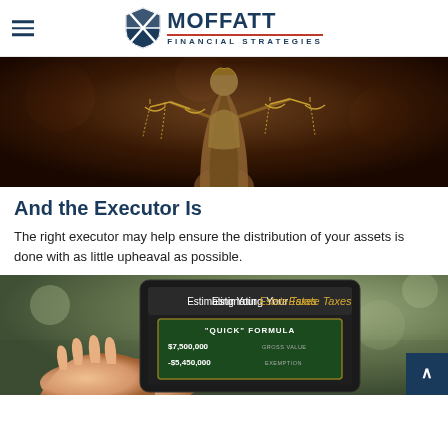MOFFATT FINANCIAL STRATEGIES
[Figure (photo): Close-up photo of a bronze Lady Justice statue holding scales, with dark blurred background]
And the Executor Is
The right executor may help ensure the distribution of your assets is done with as little upheaval as possible.
[Figure (photo): Hand holding a tablet displaying 'Estimating Your Estate Taxes' with a Quick Formula showing $7,500,000 Gross Value and -$5,450,000 Exemption]